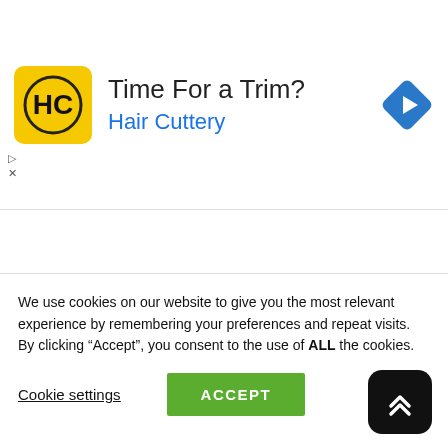[Figure (screenshot): Advertisement banner for Hair Cuttery showing yellow HC logo, text 'Time For a Trim?' and 'Hair Cuttery', and a blue navigation diamond icon]
[Figure (logo): WatchReport logo with clock icon and tagline 'Real.Honest.Reviews.']
We use cookies on our website to give you the most relevant experience by remembering your preferences and repeat visits. By clicking “Accept”, you consent to the use of ALL the cookies.
Cookie settings
ACCEPT